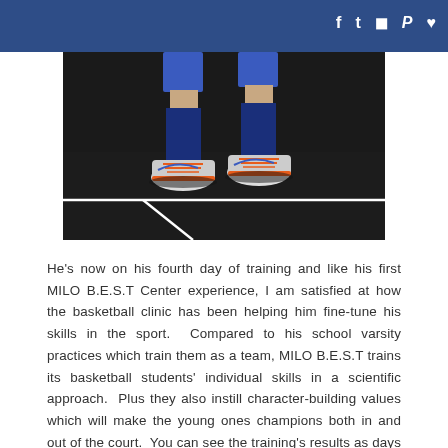Social media navigation bar with icons: facebook, twitter, instagram, pinterest, heart/favorites
[Figure (photo): Close-up photograph of a child's legs wearing blue basketball shorts, blue knee-high socks, and orange-laced white Nike basketball shoes, standing on a dark indoor basketball court with white court lines visible.]
He's now on his fourth day of training and like his first MILO B.E.S.T Center experience, I am satisfied at how the basketball clinic has been helping him fine-tune his skills in the sport.  Compared to his school varsity practices which train them as a team, MILO B.E.S.T trains its basketball students' individual skills in a scientific approach.  Plus they also instill character-building values which will make the young ones champions both in and out of the court.  You can see the training's results as days go by.  Both my